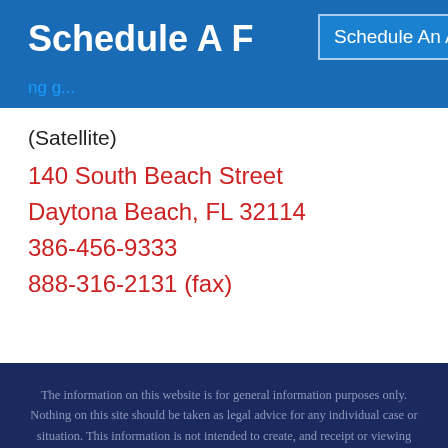Schedule A F...
Schedule An Appointment Online Now
(Satellite)
140 South Beach Street
Daytona Beach, FL 32114
386-456-9333
888-316-2131 (fax)
The information on this website is for general information purposes only. Nothing on this site should be taken as legal advice for any individual case or situation. This information is not intended to create, and receipt or viewing does not constitute, an attorney-client relationship.
CONNECT